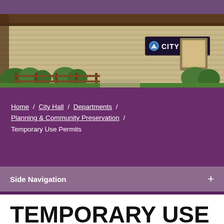[Figure (photo): Photograph of a City Hall building exterior with brick walls, a 'CITY HALL' sign, trees and shrubbery, wooden fence, and purple header bar above]
Home / City Hall / Departments / Planning & Community Preservation / Temporary Use Permits
Side Navigation +
TEMPORARY USE PERMITS